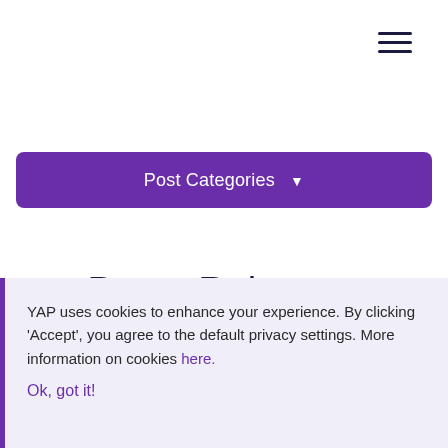[Figure (other): Hamburger menu icon (three horizontal lines) in top right corner]
Post Categories ▼
Press Releases
YAP uses cookies to enhance your experience. By clicking 'Accept', you agree to the default privacy settings. More information on cookies here.
Ok, got it!